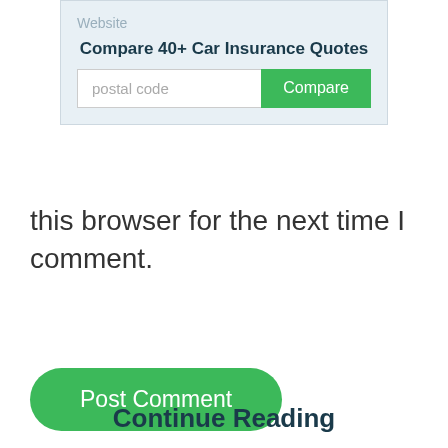[Figure (screenshot): Insurance quote comparison widget with title 'Compare 40+ Car Insurance Quotes', a postal code input field, and a green Compare button, on a light blue-grey background. A 'Website' label appears at the top.]
this browser for the next time I comment.
Post Comment
Continue Reading